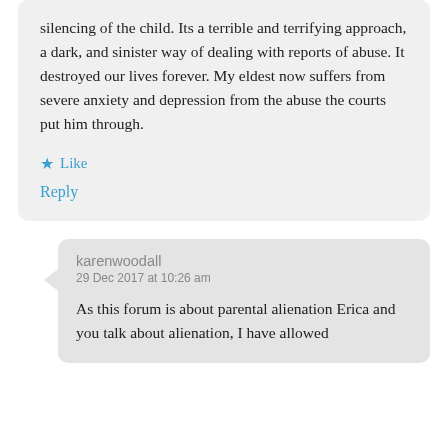silencing of the child. Its a terrible and terrifying approach, a dark, and sinister way of dealing with reports of abuse. It destroyed our lives forever. My eldest now suffers from severe anxiety and depression from the abuse the courts put him through.
★ Like
Reply
karenwoodall
29 Dec 2017 at 10:26 am
As this forum is about parental alienation Erica and you talk about alienation, I have allowed